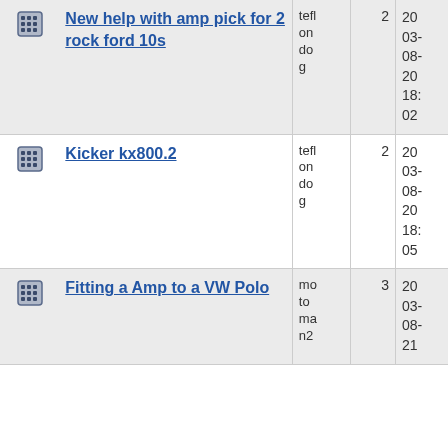|  | Topic | Author | Replies | Date |
| --- | --- | --- | --- | --- |
| [icon] | New help with amp pick for 2 rock ford 10s | teflondog | 2 | 2003-08-20 18:02 |
| [icon] | Kicker kx800.2 | teflondog | 2 | 2003-08-20 18:05 |
| [icon] | Fitting a Amp to a VW Polo | motoman2 | 3 | 2003-08-21 |